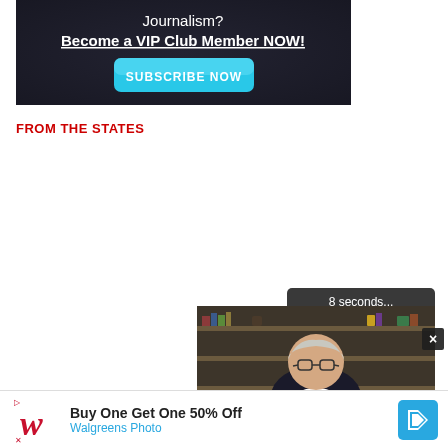[Figure (screenshot): Dark banner advertisement with text 'Journalism? Become a VIP Club Member NOW!' and a cyan 'SUBSCRIBE NOW' button]
FROM THE STATES
[Figure (screenshot): Embedded video player showing an older man in a dark blazer in front of a bookshelf, with video controls bar showing pause, rewind, settings, and theater mode icons, and 'Just the News' logo. A tooltip reads '8 seconds...' A close X button is visible.]
[Figure (screenshot): Advertisement banner: 'Buy One Get One 50% Off Walgreens Photo' with Walgreens cursive W logo and blue navigation icon]